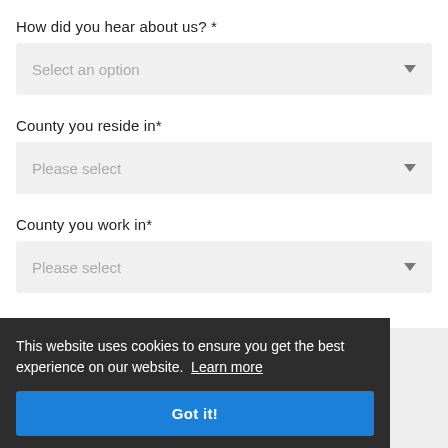How did you hear about us? *
[Figure (screenshot): Dropdown selector with placeholder 'Select an option']
County you reside in*
[Figure (screenshot): Dropdown selector with placeholder 'Please select']
County you work in*
[Figure (screenshot): Dropdown selector with placeholder 'Please select']
This website uses cookies to ensure you get the best experience on our website. Learn more
Got it!